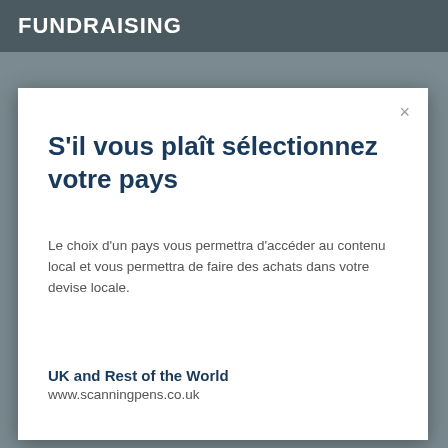FUNDRAISING
S'il vous plaît sélectionnez votre pays
Le choix d'un pays vous permettra d'accéder au contenu local et vous permettra de faire des achats dans votre devise locale.
UK and Rest of the World
www.scanningpens.co.uk